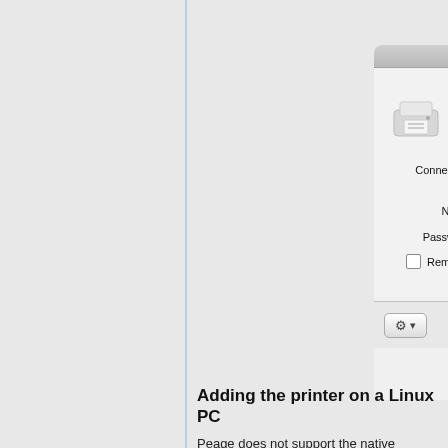[Figure (screenshot): macOS printer authentication dialog showing fields: Connect as (Guest / Registered User selected), Name field with ru\u1234, Password field with dots, Remember this password checkbox, and a gear button at the bottom.]
Adding the printer on a Linux PC
Peage does not support the native